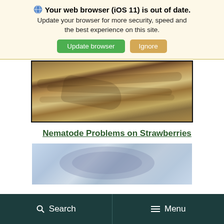🌐 Your web browser (iOS 11) is out of date. Update your browser for more security, speed and the best experience on this site. [Update browser] [Ignore]
[Figure (photo): Microscopic image of nematodes on a plant surface, showing elongated worm-like organisms against a light tan/wood-colored background]
Nematode Problems on Strawberries
[Figure (photo): Microscopic image of a nematode egg mass or cyst, showing a rounded translucent organism against a blue background]
Search   Menu